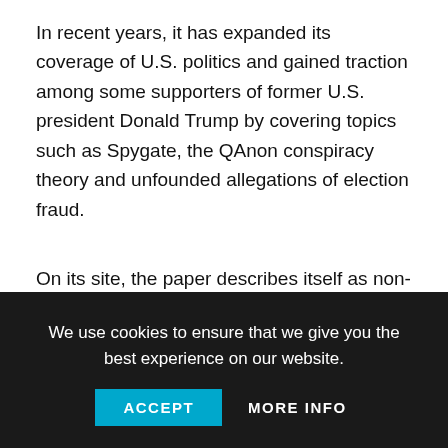In recent years, it has expanded its coverage of U.S. politics and gained traction among some supporters of former U.S. president Donald Trump by covering topics such as Spygate, the QAnon conspiracy theory and unfounded allegations of election fraud.
On its site, the paper describes itself as non-partisan and “independent of any influence from corporations, governments or political parties.”
In its sample issue, the Epoch Times says it has a “reputation for independent, fact-based traditional journalism” and its goal is “to serve the public benefit and be truly responsible to
We use cookies to ensure that we give you the best experience on our website.